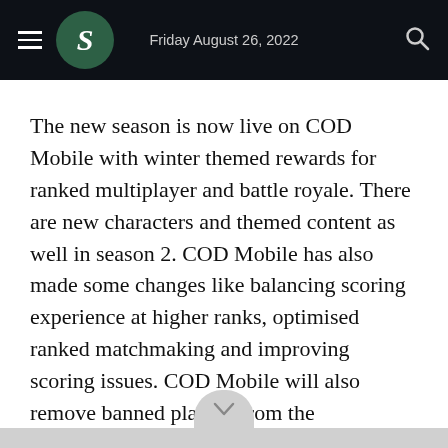Friday August 26, 2022
The new season is now live on COD Mobile with winter themed rewards for ranked multiplayer and battle royale. There are new characters and themed content as well in season 2. COD Mobile has also made some changes like balancing scoring experience at higher ranks, optimised ranked matchmaking and improving scoring issues. COD Mobile will also remove banned players from the leaderboard.